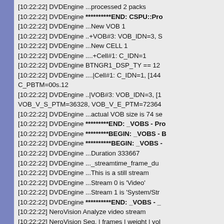[10:22:22] DVDEngine ...processed 2 packs
[10:22:22] DVDEngine **********END: CSPU::Pro
[10:22:22] DVDEngine ...New VOB 1
[10:22:22] DVDEngine ..+VOB#3: VOB_IDN=3, S
[10:22:22] DVDEngine ...New CELL 1
[10:22:22] DVDEngine ....+Cell#1: C_IDN=1
[10:22:22] DVDEngine BTNGR1_DSP_TY == 12
[10:22:22] DVDEngine ....|Cell#1: C_IDN=1, [144
C_PBTM=00s.12
[10:22:22] DVDEngine ..|VOB#3: VOB_IDN=3, [1
VOB_V_S_PTM=36328, VOB_V_E_PTM=72364
[10:22:22] DVDEngine ...actual VOB size is 74 se
[10:22:22] DVDEngine *********END: _VOBS - Pro
[10:22:22] DVDEngine *********BEGIN: _VOBS - B
[10:22:22] DVDEngine **********BEGIN: _VOBS -
[10:22:22] DVDEngine ...Duration 333667
[10:22:22] DVDEngine ..._streamtime_frame_du
[10:22:22] DVDEngine ...This is a still stream
[10:22:22] DVDEngine ...Stream 0 is 'Video'
[10:22:22] DVDEngine ...Stream 1 is 'System/Str
[10:22:22] DVDEngine **********END: _VOBS - _
[10:22:22] NeroVision Analyze video stream
[10:22:22] NeroVision Seg. | frames | weight | vol
[10:22:22] NeroVision ------+----------+--------+------
[10:22:22] NeroVision 0 | 1 | 1 | 1